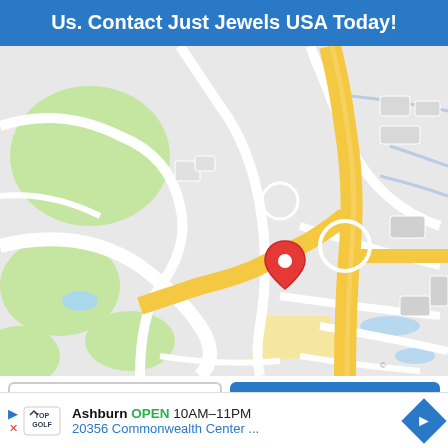Us. Contact Just Jewels USA Today!
[Figure (map): Google Maps screenshot showing a location pin (red marker) for Just Jewels USA near a highway interchange in Ashburn area. A yellow highway runs vertically and branches, with white roads, green areas, and gray urban blocks.]
Directions
Call
Ashburn OPEN 10AM–11PM 20356 Commonwealth Center ...